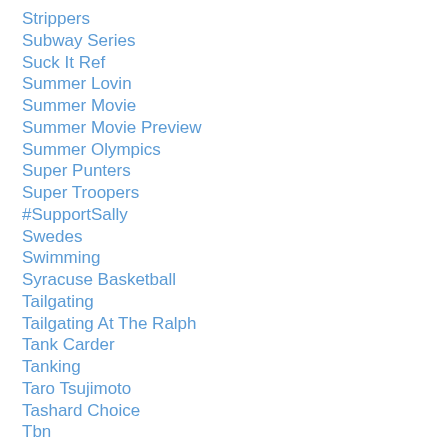Strippers
Subway Series
Suck It Ref
Summer Lovin
Summer Movie
Summer Movie Preview
Summer Olympics
Super Punters
Super Troopers
#SupportSally
Swedes
Swimming
Syracuse Basketball
Tailgating
Tailgating At The Ralph
Tank Carder
Tanking
Taro Tsujimoto
Tashard Choice
Tbn